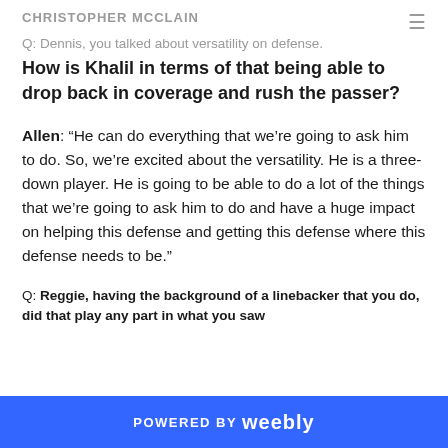CHRISTOPHER MCCLAIN
Q: Dennis, you talked about versatility on defense. How is Khalil in terms of that being able to drop back in coverage and rush the passer?
Allen: “He can do everything that we’re going to ask him to do. So, we’re excited about the versatility. He is a three-down player. He is going to be able to do a lot of the things that we’re going to ask him to do and have a huge impact on helping this defense and getting this defense where this defense needs to be.”
Q: Reggie, having the background of a linebacker that you do, did that play any part in what you saw
POWERED BY weebly